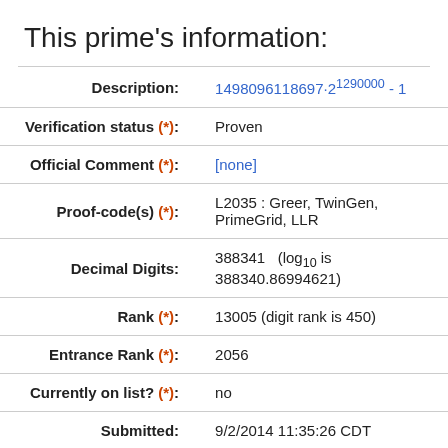This prime's information:
| Field | Value |
| --- | --- |
| Description: | 1498096118697·2^1290000 - 1 |
| Verification status (*): | Proven |
| Official Comment (*): | [none] |
| Proof-code(s) (*): | L2035 : Greer, TwinGen, PrimeGrid, LLR |
| Decimal Digits: | 388341   (log₁₀ is 388340.86994621) |
| Rank (*): | 13005 (digit rank is 450) |
| Entrance Rank (*): | 2056 |
| Currently on list? (*): | no |
| Submitted: | 9/2/2014 11:35:26 CDT |